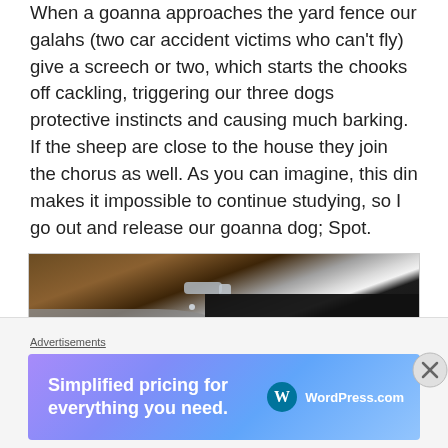When a goanna approaches the yard fence our galahs (two car accident victims who can't fly) give a screech or two, which starts the chooks off cackling, triggering our three dogs protective instincts and causing much barking. If the sheep are close to the house they join the chorus as well. As you can imagine, this din makes it impossible to continue studying, so I go out and release our goanna dog; Spot.
[Figure (photo): A close-up photo of a black and white dog (Spot) lying down, viewed from above/side. The background appears to be a wooden surface. The dog has a gray/white chest area and black back.]
Advertisements
[Figure (screenshot): WordPress.com advertisement banner with purple-to-blue gradient. Text reads 'Simplified pricing for everything you need.' with WordPress.com logo on the right.]